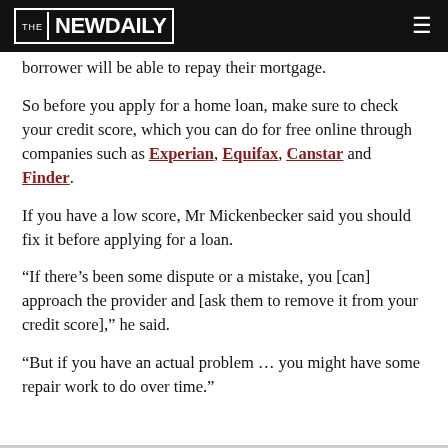THE NEW DAILY
borrower will be able to repay their mortgage.
So before you apply for a home loan, make sure to check your credit score, which you can do for free online through companies such as Experian, Equifax, Canstar and Finder.
If you have a low score, Mr Mickenbecker said you should fix it before applying for a loan.
“If there’s been some dispute or a mistake, you [can] approach the provider and [ask them to remove it from your credit score],” he said.
“But if you have an actual problem … you might have some repair work to do over time.”